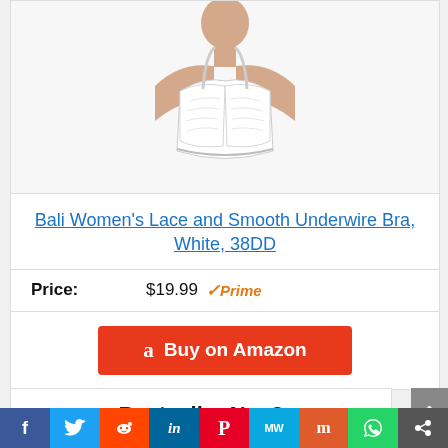[Figure (photo): Woman wearing a white lace underwire bra (Bali Women's Lace and Smooth Underwire Bra, White, 38DD). The photo shows the torso and shoulders of a model against a light background.]
Bali Women's Lace and Smooth Underwire Bra, White, 38DD
Price: $19.99 ✓Prime
Buy on Amazon
Bestseller No. 2